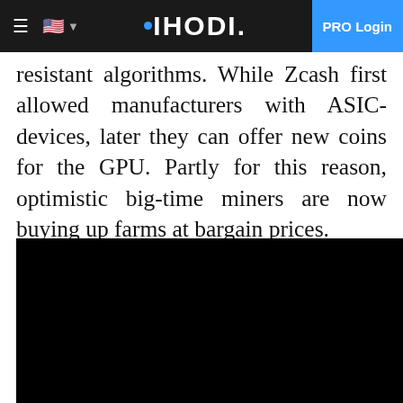≡ 🇺🇸 ▾  •IHODI.  PRO Login
resistant algorithms. While Zcash first allowed manufacturers with ASIC-devices, later they can offer new coins for the GPU. Partly for this reason, optimistic big-time miners are now buying up farms at bargain prices.
[Figure (photo): A large black image/video placeholder]